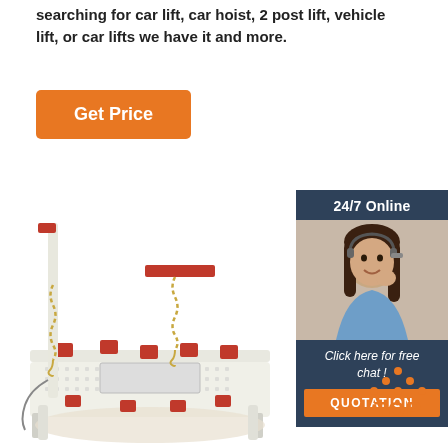searching for car lift, car hoist, 2 post lift, vehicle lift, or car lifts we have it and more.
[Figure (other): Orange 'Get Price' button]
[Figure (other): Sidebar with '24/7 Online' text, customer service representative photo wearing headset, italic text 'Click here for free chat!', and orange 'QUOTATION' button on dark navy background]
[Figure (photo): Auto body frame straightening bench/car frame machine with red clamps and chains on a white perforated table surface, tall post with chain on left side]
[Figure (other): Orange 'TOP' badge with decorative dots above the text in bottom right area]